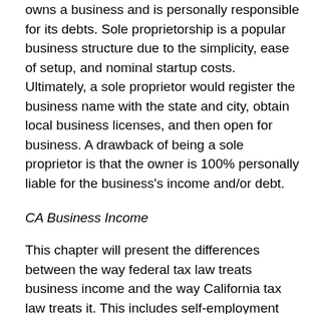owns a business and is personally responsible for its debts. Sole proprietorship is a popular business structure due to the simplicity, ease of setup, and nominal startup costs. Ultimately, a sole proprietor would register the business name with the state and city, obtain local business licenses, and then open for business. A drawback of being a sole proprietor is that the owner is 100% personally liable for the business's income and/or debt.
CA Business Income
This chapter will present the differences between the way federal tax law treats business income and the way California tax law treats it. This includes self-employment income, rental income, self-employment tax, withholding issues for self-employed nonresidents, common law employees, statutory employees, and contractors.